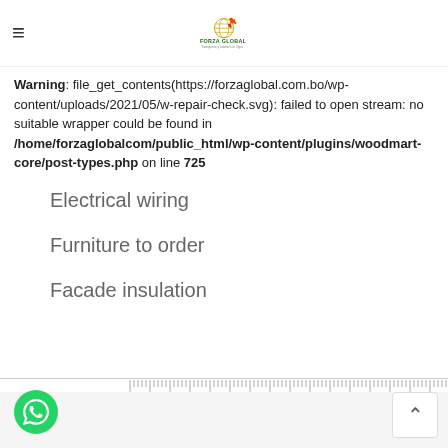Forza Global logo and hamburger menu
Warning: file_get_contents(https://forzaglobal.com.bo/wp-content/uploads/2021/05/w-repair-check.svg): failed to open stream: no suitable wrapper could be found in /home/forzaglobalcom/public_html/wp-content/plugins/woodmart-core/post-types.php on line 725
Electrical wiring
Furniture to order
Facade insulation